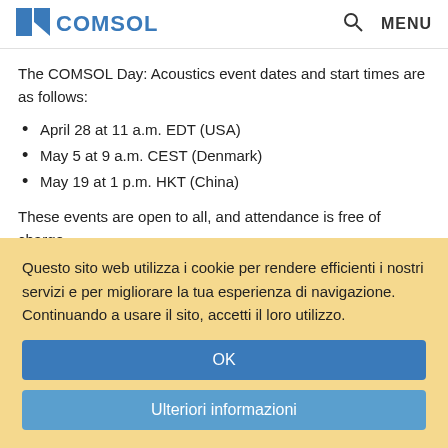COMSOL  MENU
The COMSOL Day: Acoustics event dates and start times are as follows:
April 28 at 11 a.m. EDT (USA)
May 5 at 9 a.m. CEST (Denmark)
May 19 at 1 p.m. HKT (China)
These events are open to all, and attendance is free of charge.
View COMSOL Day Program Details ›
Questo sito web utilizza i cookie per rendere efficienti i nostri servizi e per migliorare la tua esperienza di navigazione. Continuando a usare il sito, accetti il loro utilizzo.
OK
Ulteriori informazioni